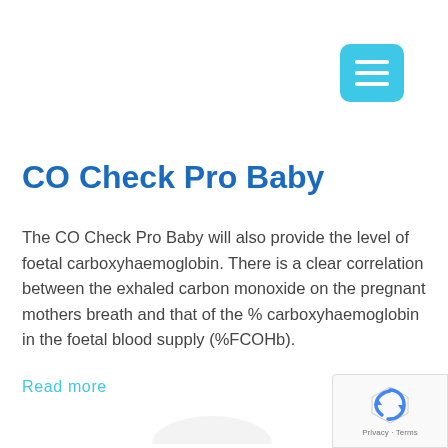[Figure (other): Blue rounded square hamburger menu button with three white horizontal lines]
CO Check Pro Baby
The CO Check Pro Baby will also provide the level of foetal carboxyhaemoglobin. There is a clear correlation between the exhaled carbon monoxide on the pregnant mothers breath and that of the % carboxyhaemoglobin in the foetal blood supply (%FCOHb).
Read more
[Figure (logo): Google reCAPTCHA widget with Privacy and Terms text]